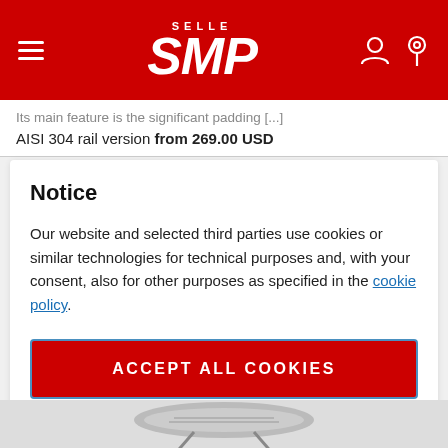SELLE SMP
Its main feature is the significant padding [...]
AISI 304 rail version from 269.00 USD
Notice
Our website and selected third parties use cookies or similar technologies for technical purposes and, with your consent, also for other purposes as specified in the cookie policy.
ACCEPT ALL COOKIES
PRIVACY PREFERENCES